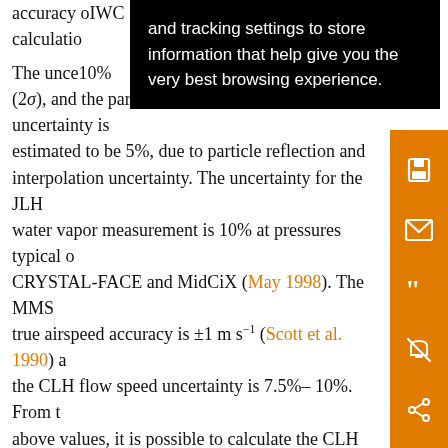accuracy of the CLH IWC calculations. The uncertainty in the CLH IWC is 10% (2σ), and the particle enhancement curve uncertainty is estimated to be 5%, due to particle reflection and interpolation uncertainty. The uncertainty for the JLH water vapor measurement is 10% at pressures typical of CRYSTAL-FACE and MidCiX (May 1998). The MMS true airspeed accuracy is ±1 m s⁻¹ (Scott et al. 1990) and the CLH flow speed uncertainty is 7.5%–10%. From the above values, it is possible to calculate the CLH IWC uncertainty by propagating errors through Eq. (1) under the assumption that there is no size dependence to the sampling efficiency (i.e., EF = E = U/U₀). This simplified approach allows for an estimation of the IWC uncertainty